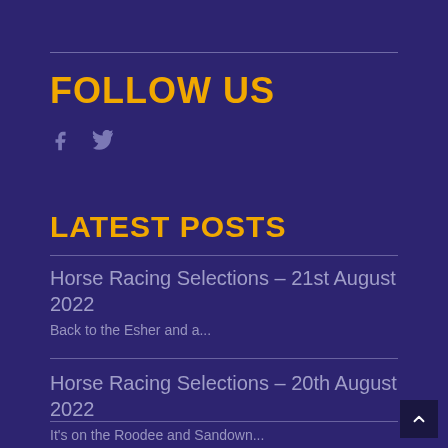FOLLOW US
[Figure (illustration): Social media icons: Facebook (f) and Twitter (bird icon) in muted purple color]
LATEST POSTS
Horse Racing Selections – 21st August 2022
Back to the Esher and a...
Horse Racing Selections – 20th August 2022
It's on the Roodee and Sandown...